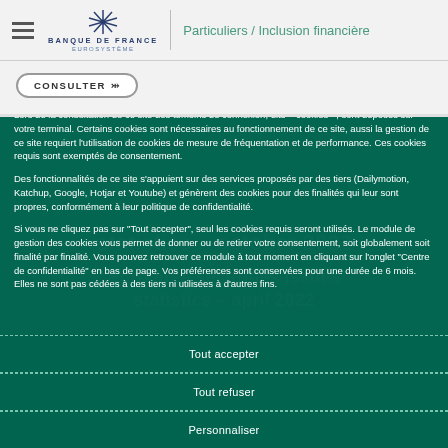Banque de France EUROSYSTÈME — Particuliers / Inclusion financière
CONSULTER
Lors de la consultation de ce site des témoins de connexion, dits « cookies », sont déposés sur votre terminal. Certains cookies sont nécessaires au fonctionnement de ce site, aussi la gestion de ce site requiert l'utilisation de cookies de mesure de fréquentation et de performance. Ces cookies requis sont exemptés de consentement.
Des fonctionnalités de ce site s'appuient sur des services proposés par des tiers (Dailymotion, Katchup, Google, Hotjar et Youtube) et génèrent des cookies pour des finalités qui leur sont propres, conformément à leur politique de confidentialité.
Si vous ne cliquez pas sur "Tout accepter", seul les cookies requis seront utilisés. Le module de gestion des cookies vous permet de donner ou de retirer votre consentement, soit globalement soit finalité par finalité. Vous pouvez retrouver ce module à tout moment en cliquant sur l'onglet "Centre de confidentialité" en bas de page. Vos préférences sont conservées pour une durée de 6 mois. Elles ne sont pas cédées à des tiers ni utilisées à d'autres fins.
Tout accepter
Tout refuser
Personnaliser